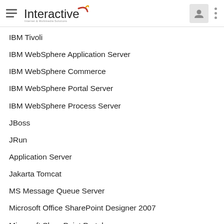Interactive — Internet & Multimedia Solutions
IBM Tivoli
IBM WebSphere Application Server
IBM WebSphere Commerce
IBM WebSphere Portal Server
IBM WebSphere Process Server
JBoss
JRun
Application Server
Jakarta Tomcat
MS Message Queue Server
Microsoft Office SharePoint Designer 2007
Microsoft SharePoint Portal
Oracle Application Server
Oracle Forms Server
Oracle Portal
Oracle Reports Server